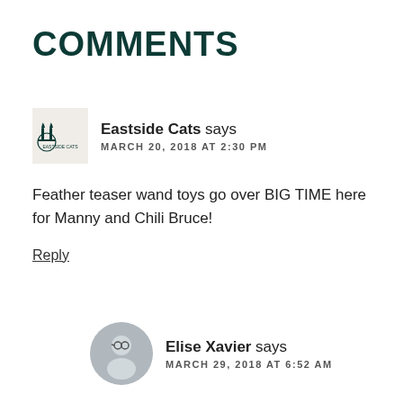COMMENTS
Eastside Cats says
MARCH 20, 2018 AT 2:30 PM
Feather teaser wand toys go over  BIG TIME here for Manny and Chili  Bruce!
Reply
Elise Xavier says
MARCH 29, 2018 AT 6:52 AM